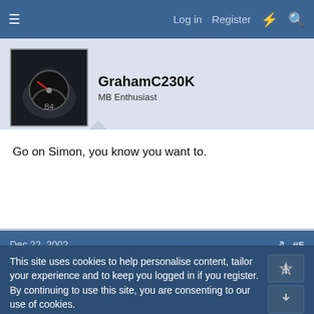Log in  Register
GrahamC230K
MB Enthusiast
Go on Simon, you know you want to.
Dec 22, 2002  #5
Koolvin
Administrator  Staff member
hahah, if S gets this then he wont stop modding his car..
This site uses cookies to help personalise content, tailor your experience and to keep you logged in if you register.
By continuing to use this site, you are consenting to our use of cookies.
Accept  Learn more...